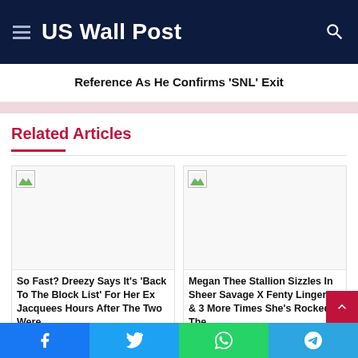US Wall Post
Reference As He Confirms ‘SNL’ Exit
Related Articles
[Figure (photo): Broken image placeholder for article 1]
So Fast? Dreezy Says It’s ‘Back To The Block List’ For Her Ex Jacquees Hours After The Two Were...
[Figure (photo): Broken image placeholder for article 2]
Megan Thee Stallion Sizzles In Sheer Savage X Fenty Lingerie & 3 More Times She’s Rocked The...